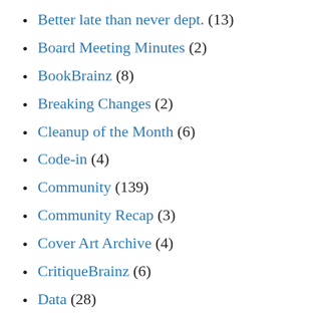Better late than never dept. (13)
Board Meeting Minutes (2)
BookBrainz (8)
Breaking Changes (2)
Cleanup of the Month (6)
Code-in (4)
Community (139)
Community Recap (3)
Cover Art Archive (4)
CritiqueBrainz (6)
Data (28)
Development (202)
General (132)
Google Programs (9)
Hardware (23)
Hosting (63)